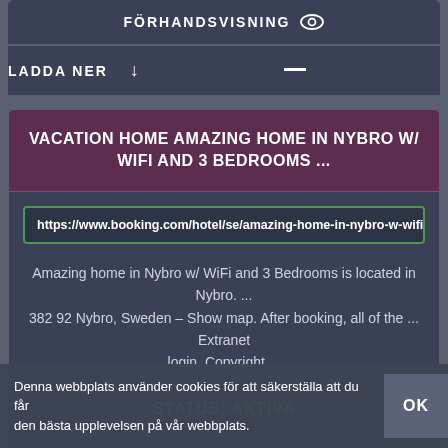FÖRHANDSVISNING
LADDA NER
VACATION HOME AMAZING HOME IN NYBRO W/ WIFI AND 3 BEDROOMS ...
https://www.booking.com/hotel/se/amazing-home-in-nybro-w-wifi-and-3
Amazing home in Nybro w/ WiFi and 3 Bedrooms is located in Nybro. ... 382 92 Nybro, Sweden – Show map. After booking, all of the ... Extranet login. Copyright ...
STATUS: AKTIVA
FÖRHANDSVISNING
LADDA NER
Denna webbplats använder cookies för att säkerställa att du får den bästa upplevelsen på vår webbplats.